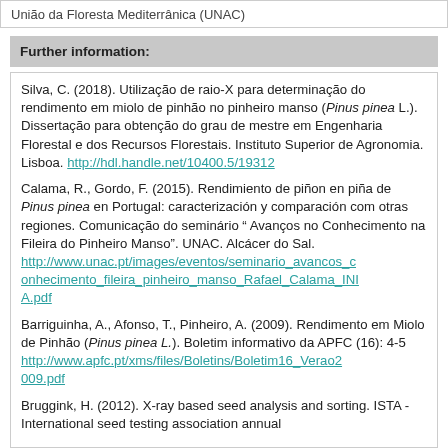União da Floresta Mediterrânica (UNAC)
Further information:
Silva, C. (2018). Utilização de raio-X para determinação do rendimento em miolo de pinhão no pinheiro manso (Pinus pinea L.). Dissertação para obtenção do grau de mestre em Engenharia Florestal e dos Recursos Florestais. Instituto Superior de Agronomia. Lisboa. http://hdl.handle.net/10400.5/19312
Calama, R., Gordo, F. (2015). Rendimiento de piñon en piña de Pinus pinea en Portugal: caracterización y comparación com otras regiones. Comunicação do seminário " Avanços no Conhecimento na Fileira do Pinheiro Manso". UNAC. Alcácer do Sal. http://www.unac.pt/images/eventos/seminario_avancos_conhecimento_fileira_pinheiro_manso_Rafael_Calama_INIA.pdf
Barriguinha, A., Afonso, T., Pinheiro, A. (2009). Rendimento em Miolo de Pinhão (Pinus pinea L.). Boletim informativo da APFC (16): 4-5 http://www.apfc.pt/xms/files/Boletins/Boletim16_Verao2009.pdf
Bruggink, H. (2012). X-ray based seed analysis and sorting. ISTA - International seed testing association annual